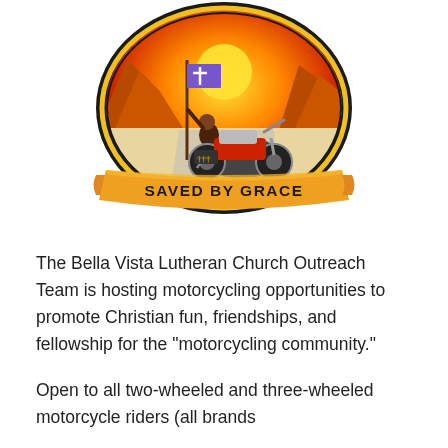[Figure (logo): Circular emblem/patch with sunset desert landscape, a biker riding a motorcycle and waving a Christian cross flag, three crosses on saddlebag, with a banner ribbon at the bottom reading 'SAVED BY GRACE' in bold black letters on an orange/gold background.]
The Bella Vista Lutheran Church Outreach Team is hosting motorcycling opportunities to promote Christian fun, friendships, and fellowship for the "motorcycling community."
Open to all two-wheeled and three-wheeled motorcycle riders (all brands